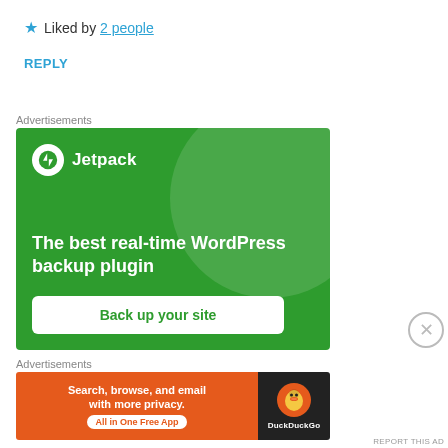★ Liked by 2 people
REPLY
Advertisements
[Figure (infographic): Jetpack advertisement: green background with circle motif, Jetpack logo and name at top, tagline 'The best real-time WordPress backup plugin', and a white button 'Back up your site']
Advertisements
[Figure (infographic): DuckDuckGo advertisement: orange left panel with text 'Search, browse, and email with more privacy.' and badge 'All in One Free App', dark right panel with DuckDuckGo logo and brand name]